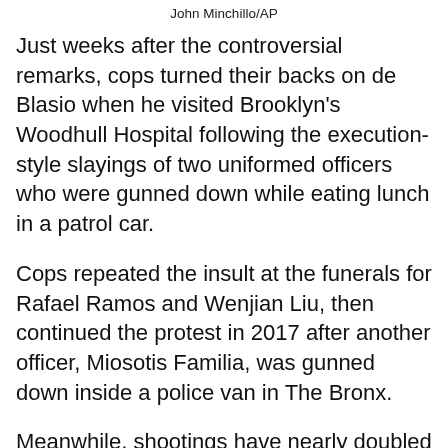John Minchillo/AP
Just weeks after the controversial remarks, cops turned their backs on de Blasio when he visited Brooklyn’s Woodhull Hospital following the execution-style slayings of two uniformed officers who were gunned down while eating lunch in a patrol car.
Cops repeated the insult at the funerals for Rafael Ramos and Wenjian Liu, then continued the protest in 2017 after another officer, Miosotis Familia, was gunned down inside a police van in The Bronx.
Meanwhile, shootings have nearly doubled from the 777 in 2019, with 1,531 last year and 1,546 this year as of Sunday.